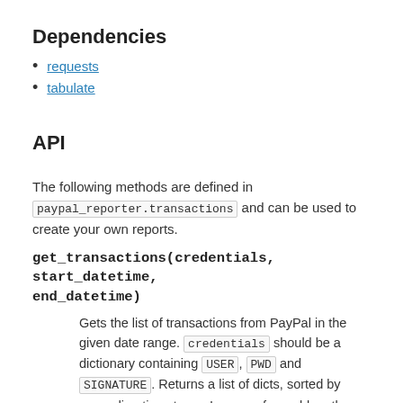Dependencies
requests
tabulate
API
The following methods are defined in paypal_reporter.transactions and can be used to create your own reports.
get_transactions(credentials, start_datetime, end_datetime)
Gets the list of transactions from PayPal in the given date range. credentials should be a dictionary containing USER, PWD and SIGNATURE. Returns a list of dicts, sorted by ascending timestamp. In case of a problem the method